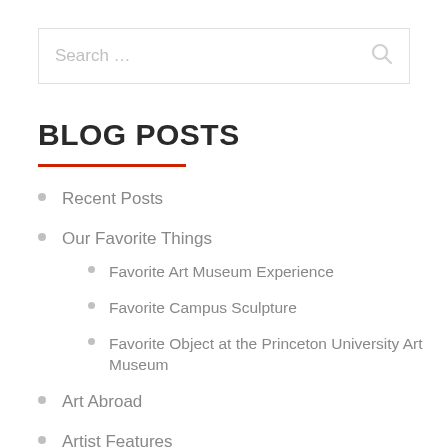[Figure (screenshot): Search box with placeholder text 'Search ...' and a search icon on the right]
BLOG POSTS
Recent Posts
Our Favorite Things
Favorite Art Museum Experience
Favorite Campus Sculpture
Favorite Object at the Princeton University Art Museum
Art Abroad
Artist Features